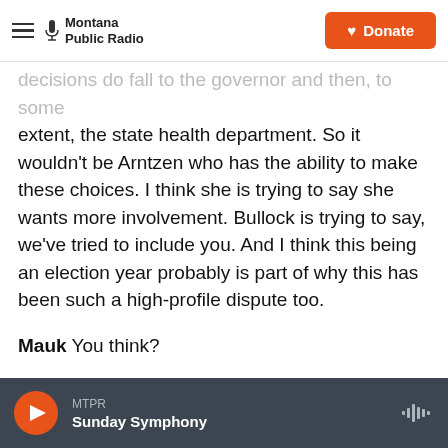Montana Public Radio | Donate
decisions do fall to the governor and then, to some extent, the state health department. So it wouldn't be Arntzen who has the ability to make these choices. I think she is trying to say she wants more involvement. Bullock is trying to say, we've tried to include you. And I think this being an election year probably is part of why this has been such a high-profile dispute too.
Mauk You think?
There was a lot going on this week. Next week will likely be the same. And Rob and Holly, we'll talk to then. Thanks.
MTPR Sunday Symphony